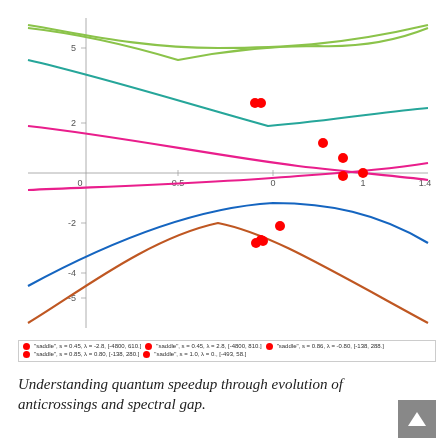[Figure (continuous-plot): Multi-curve continuous plot showing eigenvalue/energy level anticrossings as a function of a parameter (x-axis from about -0.5 to 1.4). Five colored curves: yellow-green (top, U-shaped minimum ~5), teal/green (anticrossing, minimum ~2.3), magenta/pink (crossing curves), blue (bell-shaped peak near x=0.7, range -2 to -1), and orange/brown (inverted U, range -4 to -6). Five red dots mark saddle points. Axes are unlabeled except for tick values.]
Understanding quantum speedup through evolution of anticrossings and spectral gap.